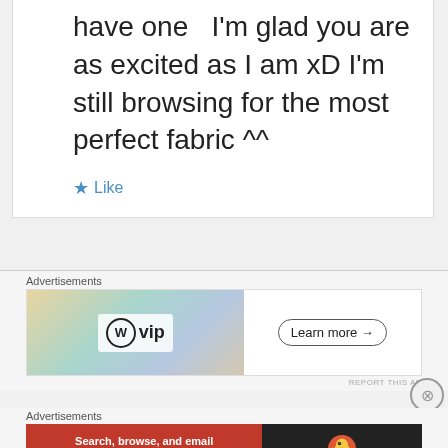have one  I'm glad you are as excited as I am xD I'm still browsing for the most perfect fabric ^^
★ Like
Advertisements
[Figure (screenshot): WordPress VIP advertisement banner with colorful card-like background. Shows WP circle logo with 'vip' text on left, and 'Learn more →' button on right.]
REPORT THIS AD
Advertisements
[Figure (screenshot): DuckDuckGo advertisement banner. Left side is red/orange with text 'Search, browse, and email with more privacy. All in One Free App'. Right side is dark with DuckDuckGo logo and brand name.]
REPORT THIS AD